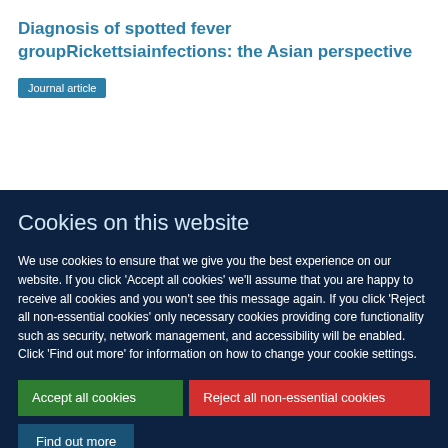Diagnosis of spotted fever groupRickettsiainfections: the Asian perspective
Journal article
Cookies on this website
We use cookies to ensure that we give you the best experience on our website. If you click 'Accept all cookies' we'll assume that you are happy to receive all cookies and you won't see this message again. If you click 'Reject all non-essential cookies' only necessary cookies providing core functionality such as security, network management, and accessibility will be enabled. Click 'Find out more' for information on how to change your cookie settings.
Accept all cookies
Reject all non-essential cookies
Find out more